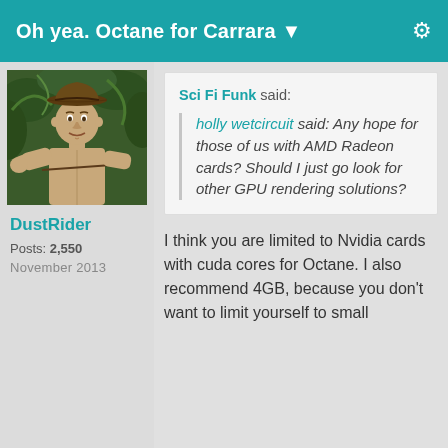Oh yea. Octane for Carrara ▼
[Figure (illustration): Avatar illustration of a man in an adventure/Indiana Jones style, wearing a hat, in a jungle setting]
DustRider
Posts: 2,550
November 2013
Sci Fi Funk said:
holly wetcircuit said: Any hope for those of us with AMD Radeon cards? Should I just go look for other GPU rendering solutions?
I think you are limited to Nvidia cards with cuda cores for Octane. I also recommend 4GB, because you don't want to limit yourself to small